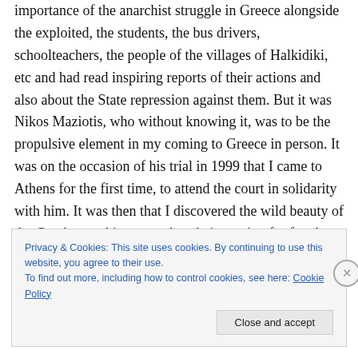importance of the anarchist struggle in Greece alongside the exploited, the students, the bus drivers, schoolteachers, the people of the villages of Halkidiki, etc and had read inspiring reports of their actions and also about the State repression against them. But it was Nikos Maziotis, who without knowing it, was to be the propulsive element in my coming to Greece in person. It was on the occasion of his trial in 1999 that I came to Athens for the first time, to attend the court in solidarity with him. It was then that I discovered the wild beauty of the Greek anarchist comrades, their passion for freedom that found
Privacy & Cookies: This site uses cookies. By continuing to use this website, you agree to their use.
To find out more, including how to control cookies, see here: Cookie Policy